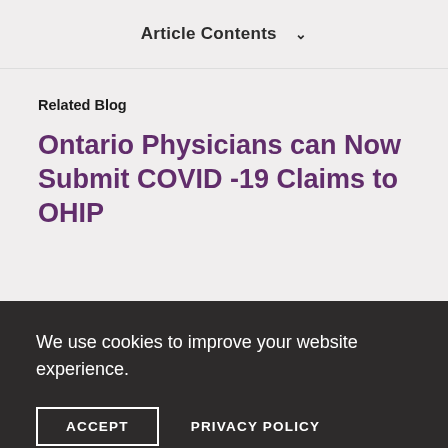Article Contents ∨
Related Blog
Ontario Physicians can Now Submit COVID -19 Claims to OHIP
We use cookies to improve your website experience.
ACCEPT
PRIVACY POLICY